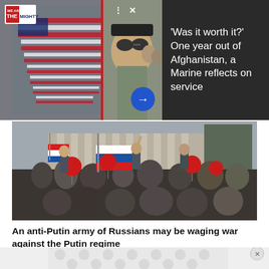[Figure (photo): Collage: left shows American flags draped over coffins in rows, right shows a smiling soldier in sunglasses taking a selfie with a group of people]
'Was it worth it?' One year out of Afghanistan, a Marine reflects on service
[Figure (photo): Outdoor protest scene with Russian flags and red balloons; crowd gathered in front of a large classical building]
An anti-Putin army of Russians may be waging war against the Putin regime
[Figure (other): Advertisement banner with repeating circular pattern]